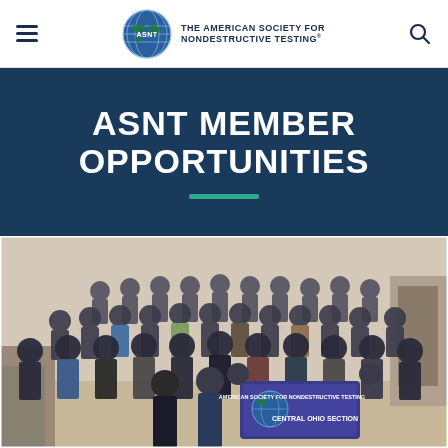THE AMERICAN SOCIETY FOR NONDESTRUCTIVE TESTING
ASNT MEMBER OPPORTUNITIES
[Figure (photo): Group photo of ASNT Central Ohio Section members gathered indoors, some holding an ASNT banner reading 'AMERICAN SOCIETY FOR NONDESTRUCTIVE TESTING - CENTRAL OHIO SECTION']